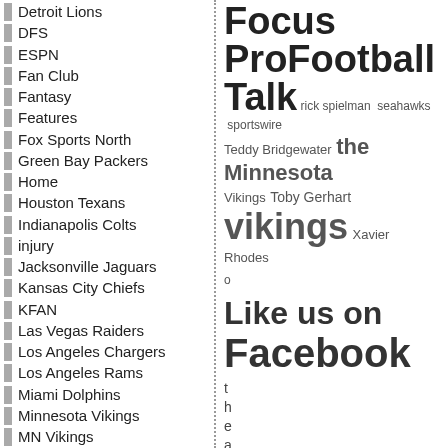Detroit Lions
DFS
ESPN
Fan Club
Fantasy
Features
Fox Sports North
Green Bay Packers
Home
Houston Texans
Indianapolis Colts
injury
Jacksonville Jaguars
Kansas City Chiefs
KFAN
Las Vegas Raiders
Los Angeles Chargers
Los Angeles Rams
Miami Dolphins
Minnesota Vikings
MN Vikings
New England Patriots
New Orleans Saints
[Figure (infographic): Tag cloud with: Focus ProFootball Talk (large bold), rick spielman, seahawks, sportswire (small), Teddy Bridgewater, the Minnesota (medium), Vikings (small), Toby Gerhart, vikings (large bold), Xavier Rhodes (small), then 'Like us on Facebook' (large bold), followed by vertical letters spelling 'theabsenceofre...']